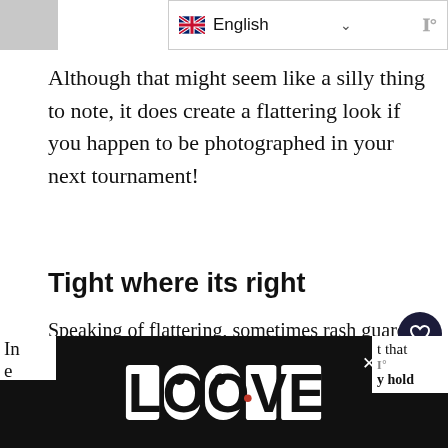[Figure (screenshot): Website UI element: language selector showing UK flag and 'English' with dropdown chevron, and a partial 'W' logo to the right]
Although that might seem like a silly thing to note, it does create a flattering look if you happen to be photographed in your next tournament!
Tight where its right
Speaking of flattering, sometimes rash guards can be the exact opposite if you aren't sporting six-pack abs. While that is more of a personal issue, Elite's rash guards don't hug your waist tightly as a typical rash guard would.
[Figure (screenshot): Website overlay UI elements: heart/save button (dark circle), share button, number badge '5', red shoe icon, 'WHAT'S NEXT' panel showing '9 Best BJJ Rash Guards']
[Figure (screenshot): Bottom advertisement bar with 'LOOVE' stylized logo in black and white, close X button, and partial text visible on left and right sides of screen]